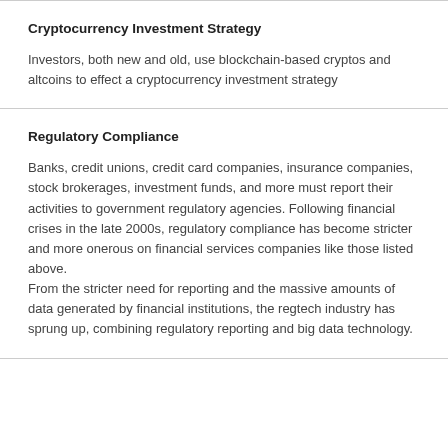Cryptocurrency Investment Strategy
Investors, both new and old, use blockchain-based cryptos and altcoins to effect a cryptocurrency investment strategy
Regulatory Compliance
Banks, credit unions, credit card companies, insurance companies, stock brokerages, investment funds, and more must report their activities to government regulatory agencies. Following financial crises in the late 2000s, regulatory compliance has become stricter and more onerous on financial services companies like those listed above.
From the stricter need for reporting and the massive amounts of data generated by financial institutions, the regtech industry has sprung up, combining regulatory reporting and big data technology.